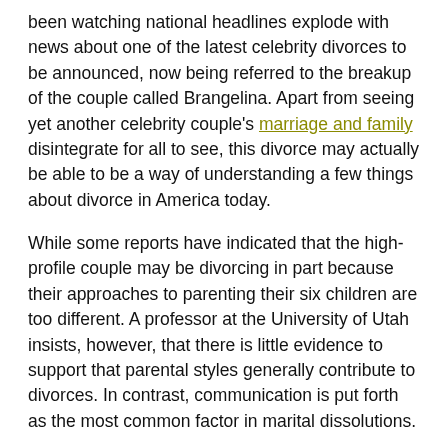been watching national headlines explode with news about one of the latest celebrity divorces to be announced, now being referred to the breakup of the couple called Brangelina. Apart from seeing yet another celebrity couple's marriage and family disintegrate for all to see, this divorce may actually be able to be a way of understanding a few things about divorce in America today.
While some reports have indicated that the high-profile couple may be divorcing in part because their approaches to parenting their six children are too different. A professor at the University of Utah insists, however, that there is little evidence to support that parental styles generally contribute to divorces. In contrast, communication is put forth as the most common factor in marital dissolutions.
Beyond contributors to divorce, the professor puts forth the idea that there are several key things that